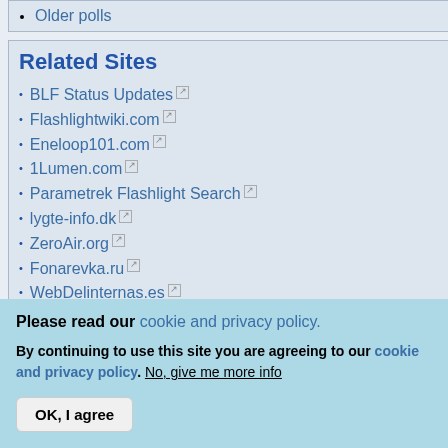Older polls
Related Sites
BLF Status Updates
Flashlightwiki.com
Eneloop101.com
1Lumen.com
Parametrek Flashlight Search
lygte-info.dk
ZeroAir.org
Fonarevka.ru
WebDelinternas.es
[Figure (photo): Photo of orange/red mechanical object top portion]
I quickly te- Them All! There wer- 😄
Here is a b- is Huskies- Of note, it breaker ba- 2 sets of r-
[Figure (photo): Photo of red 1/2 n Drive Mechani- tool set box]
Please read our cookie and privacy policy.
By continuing to use this site you are agreeing to our cookie and privacy policy. No, give me more info
OK, I agree